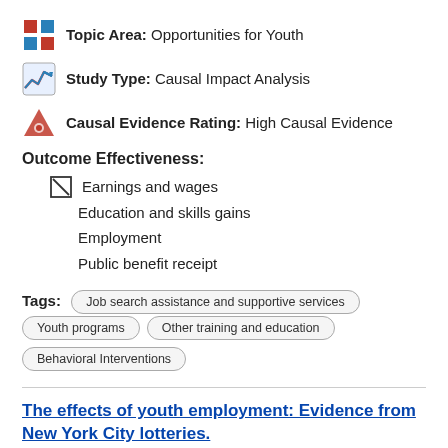Topic Area: Opportunities for Youth
Study Type: Causal Impact Analysis
Causal Evidence Rating: High Causal Evidence
Outcome Effectiveness:
☑ Earnings and wages
Education and skills gains
Employment
Public benefit receipt
Tags: Job search assistance and supportive services  Youth programs  Other training and education  Behavioral Interventions
The effects of youth employment: Evidence from New York City lotteries.